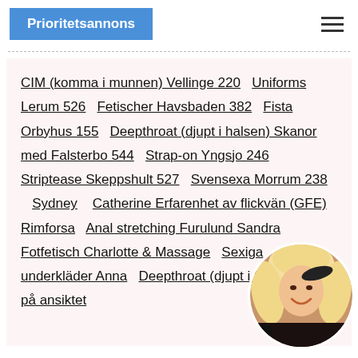Prioritetsannons
CIM (komma i munnen) Vellinge 220  Uniforms Lerum 526  Fetischer Havsbaden 382  Fista Orbyhus 155  Deepthroat (djupt i halsen) Skanor med Falsterbo 544  Strap-on Yngsjo 246  Striptease Skeppshult 527  Svensexa Morrum 238   Sydney   Catherine Erfarenhet av flickvän (GFE) Rimforsa  Anal stretching Furulund Sandra  Fotfetisch Charlotte & Massage  Sexiga underkläder Anna  Deepthroat (djupt i halsen)  Sitta på ansiktet
[Figure (photo): Circular avatar photo of a blonde woman in black lingerie, smiling]